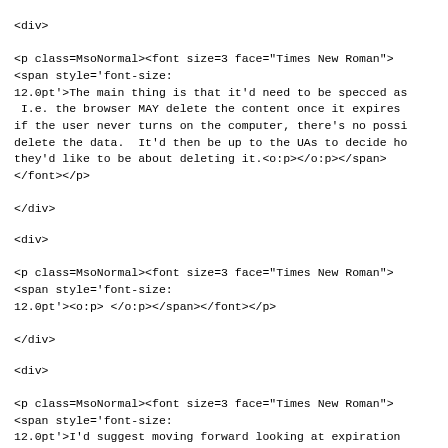<div>

<p class=MsoNormal><font size=3 face="Times New Roman">
<span style='font-size:
12.0pt'>The main thing is that it'd need to be specced as
 I.e. the browser MAY delete the content once it expires
if the user never turns on the computer, there's no possi
delete the data.  It'd then be up to the UAs to decide ho
they'd like to be about deleting it.<o:p></o:p></span>
</font></p>

</div>
<div>

<p class=MsoNormal><font size=3 face="Times New Roman">
<span style='font-size:
12.0pt'><o:p> </o:p></span></font></p>

</div>
<div>

<p class=MsoNormal><font size=3 face="Times New Roman">
<span style='font-size:
12.0pt'>I'd suggest moving forward looking at expiration
and then evaluate it for IndexedDB later on (since there
important stuff in the air with that spec right now).
<o:p></o:p></span></font></p>